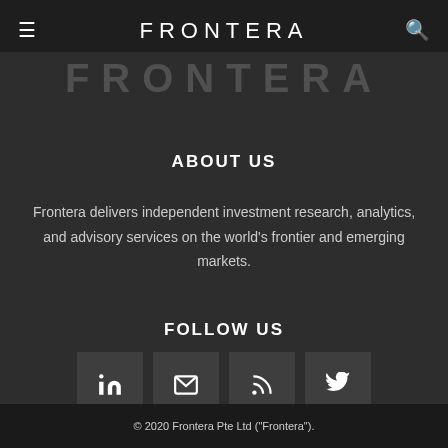FRONTERA
[Figure (logo): FRONTERA text logo displayed large in dark gray as background watermark]
ABOUT US
Frontera delivers independent investment research, analytics, and advisory services on the world's frontier and emerging markets.
FOLLOW US
[Figure (infographic): Four social media icon buttons: LinkedIn, Email, RSS feed, Twitter]
© 2020 Frontera Pte Ltd ("Frontera").